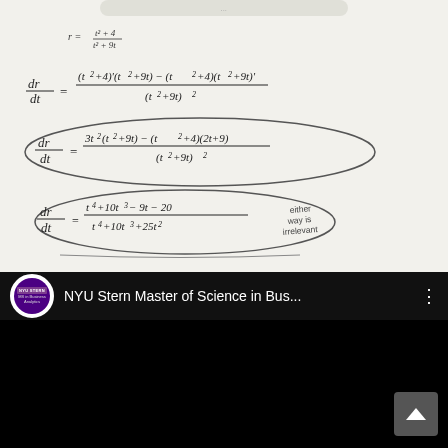[Figure (other): Handwritten calculus notes showing derivative calculation steps. Top shows a partially cropped formula for r. Below: dr/dt = (t²+4)'(t²+9t) - (t²+4)(t²+9t)' / (t²+9t)². Then circled: dr/dt = 3t²(t²+9t) - (t²+4)(2t+9) / (t²+9t)². Then circled: dr/dt = t⁴+10t³-9t-20 / t⁴+10t³+25t² with annotation 'either way is irrelevant'.]
[Figure (screenshot): YouTube video thumbnail showing NYU Stern Master of Science in Business Analytics channel. Black background with channel icon (purple circle with NYU STERN branding), video title 'NYU Stern Master of Science in Bus...' and three-dot menu. A scroll-up arrow button is visible in the bottom right.]